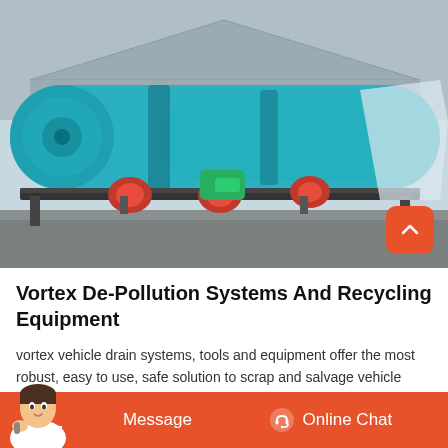[Figure (photo): Large industrial rotary drum dryer or similar cylindrical processing equipment painted teal/blue, mounted on a metal frame with red support rollers, photographed outdoors in an industrial yard. A back-to-top button with chevron icon appears in the lower right corner of the image.]
Vortex De-Pollution Systems And Recycling Equipment
vortex vehicle drain systems, tools and equipment offer the most robust, easy to use, safe solution to scrap and salvage vehicle processors throughout the ,vertical vortex generating sluice/slurry separator,this
[Figure (infographic): Orange bottom navigation bar with customer service avatar on the left, a Message button in the center-left, and an Online Chat button with headset icon on the right.]